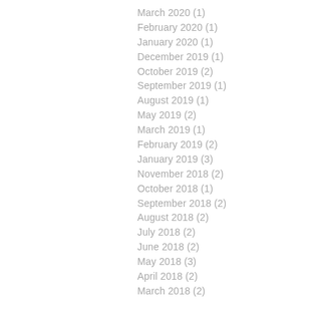March 2020 (1)
February 2020 (1)
January 2020 (1)
December 2019 (1)
October 2019 (2)
September 2019 (1)
August 2019 (1)
May 2019 (2)
March 2019 (1)
February 2019 (2)
January 2019 (3)
November 2018 (2)
October 2018 (1)
September 2018 (2)
August 2018 (2)
July 2018 (2)
June 2018 (2)
May 2018 (3)
April 2018 (2)
March 2018 (2)